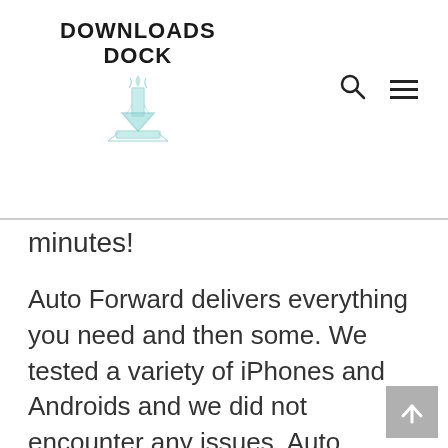DOWNLOADS DOCK
minutes!
Auto Forward delivers everything you need and then some. We tested a variety of iPhones and Androids and we did not encounter any issues. Auto Forward can extract text messages and iMessages (even if they have been deleted). The app also gathers calls, GPS, Facebook, Instagram and a lot more! Among its many benefits is its quick and easy download.